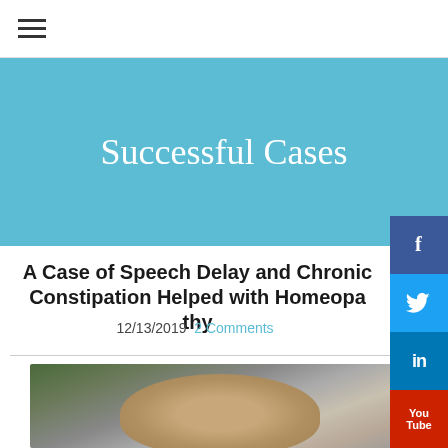☰
Successful Cases
A Case of Speech Delay and Chronic Constipation Helped with Homeopathy
12/13/2019  2 Comments
[Figure (photo): Photo of a young child with brown hair, viewed from behind/side, outdoors with blurred green background]